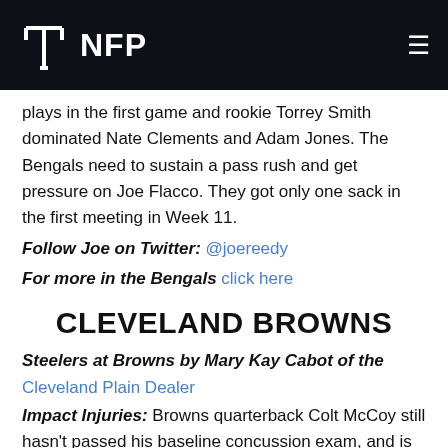NFP
plays in the first game and rookie Torrey Smith dominated Nate Clements and Adam Jones. The Bengals need to sustain a pass rush and get pressure on Joe Flacco. They got only one sack in the first meeting in Week 11.
Follow Joe on Twitter: @joereedy
For more in the Bengals click here
CLEVELAND BROWNS
Steelers at Browns by Mary Kay Cabot of the Cleveland Plain Dealer
Impact Injuries: Browns quarterback Colt McCoy still hasn't passed his baseline concussion exam, and is expected to be inactive for the third straight game. Question is, will he be the Browns' starter next season? Or will they look